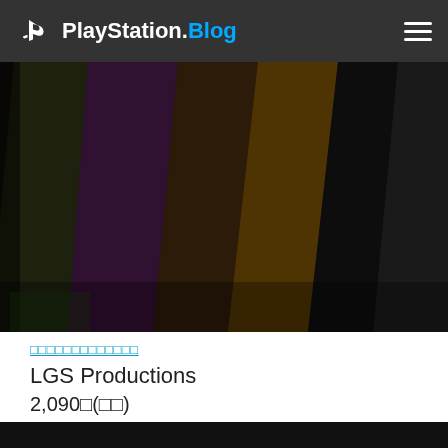PlayStation.Blog
[Figure (screenshot): Dark collage of game character art panels arranged in diagonal strips, showing various characters from a game]
□□□□□□□□□□□□□
LGS Productions
2,090□(□□)
[Figure (screenshot): Black video/image area partially visible at bottom of page]